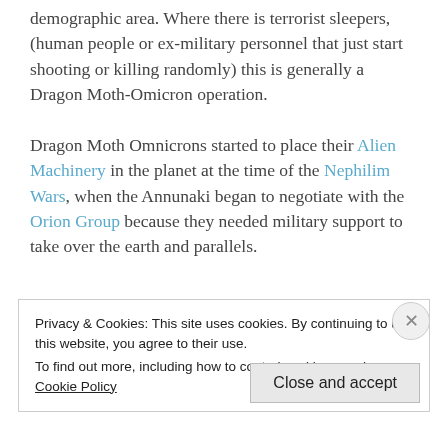demographic area. Where there is terrorist sleepers, (human people or ex-military personnel that just start shooting or killing randomly) this is generally a Dragon Moth-Omicron operation.

Dragon Moth Omnicrons started to place their Alien Machinery in the planet at the time of the Nephilim Wars, when the Annunaki began to negotiate with the Orion Group because they needed military support to take over the earth and parallels.
Privacy & Cookies: This site uses cookies. By continuing to use this website, you agree to their use.
To find out more, including how to control cookies, see here: Cookie Policy